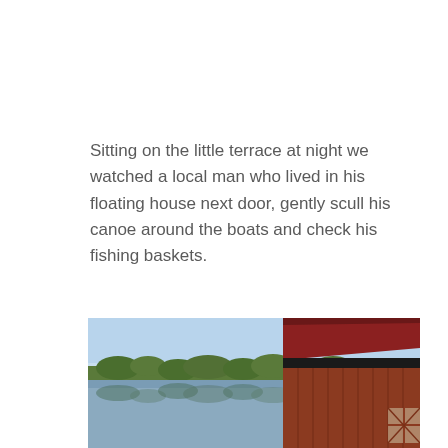Sitting on the little terrace at night we watched a local man who lived in his floating house next door, gently scull his canoe around the boats and check his fishing baskets.
[Figure (photo): A lakeside or riverside scene showing calm reflective water with trees along the far bank and a wooden floating house structure with a dark red roof visible on the right side of the image.]